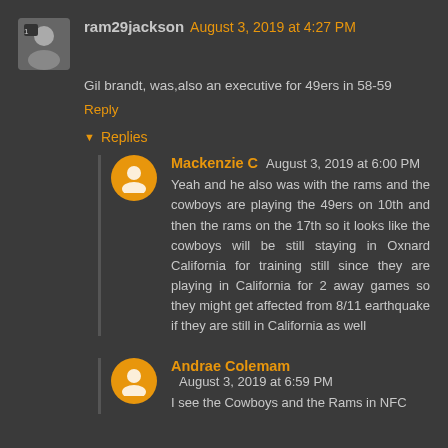ram29jackson August 3, 2019 at 4:27 PM
Gil brandt, was,also an executive for 49ers in 58-59
Reply
Replies
Mackenzie C August 3, 2019 at 6:00 PM
Yeah and he also was with the rams and the cowboys are playing the 49ers on 10th and then the rams on the 17th so it looks like the cowboys will be still staying in Oxnard California for training still since they are playing in California for 2 away games so they might get affected from 8/11 earthquake if they are still in California as well
Andrae Colemam August 3, 2019 at 6:59 PM
I see the Cowboys and the Rams in NFC